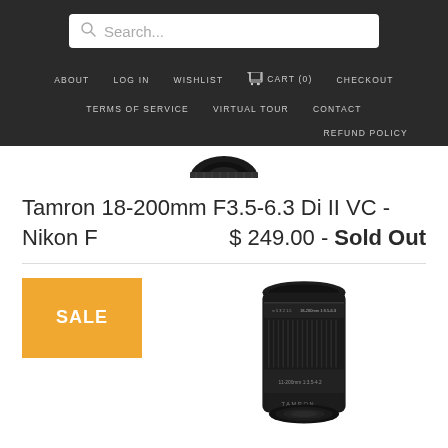Search... navigation bar with: ABOUT, LOG IN, WISHLIST, CART (0), CHECKOUT, TERMS OF SERVICE, VIRTUAL TOUR, CONTACT, REFUND POLICY
Tamron 18-200mm F3.5-6.3 Di II VC - Nikon F
$ 249.00 - Sold Out
[Figure (photo): Partial black camera lens visible at top of page above navigation]
SALE
[Figure (photo): Black Tamron camera lens (18-200mm) shown vertically, bottom portion visible below SALE badge]